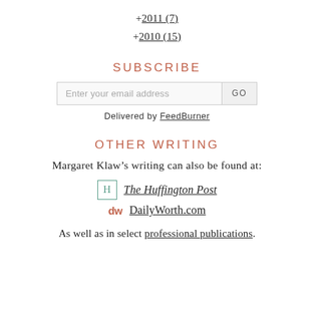+2011 (7)
+2010 (15)
SUBSCRIBE
Enter your email address  GO
Delivered by FeedBurner
OTHER WRITING
Margaret Klaw’s writing can also be found at:
The Huffington Post
DailyWorth.com
As well as in select professional publications.